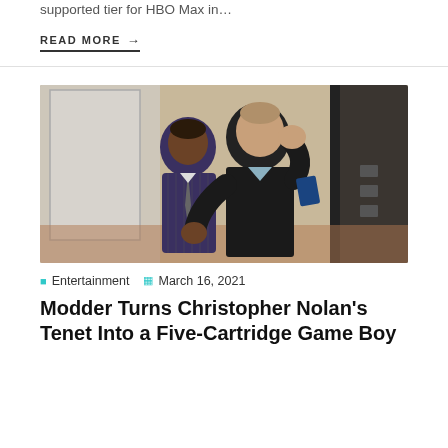supported tier for HBO Max in…
READ MORE →
[Figure (photo): Two men standing in a modern interior space. One man in a dark pinstripe suit stands in the background; another man in a black blazer gestures with his hands in the foreground.]
Entertainment   March 16, 2021
Modder Turns Christopher Nolan's Tenet Into a Five-Cartridge Game Boy